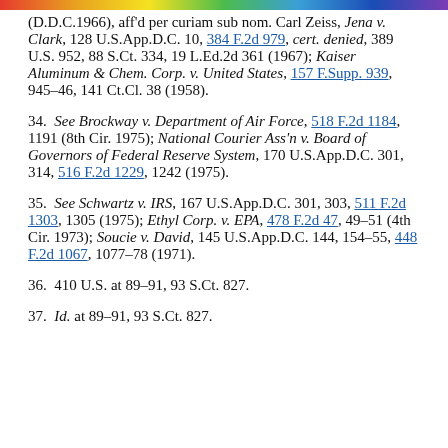(D.D.C.1966), aff'd per curiam sub nom. Carl Zeiss, Jena v. Clark, 128 U.S.App.D.C. 10, 384 F.2d 979, cert. denied, 389 U.S. 952, 88 S.Ct. 334, 19 L.Ed.2d 361 (1967); Kaiser Aluminum & Chem. Corp. v. United States, 157 F.Supp. 939, 945–46, 141 Ct.Cl. 38 (1958).
34. See Brockway v. Department of Air Force, 518 F.2d 1184, 1191 (8th Cir. 1975); National Courier Ass'n v. Board of Governors of Federal Reserve System, 170 U.S.App.D.C. 301, 314, 516 F.2d 1229, 1242 (1975).
35. See Schwartz v. IRS, 167 U.S.App.D.C. 301, 303, 511 F.2d 1303, 1305 (1975); Ethyl Corp. v. EPA, 478 F.2d 47, 49–51 (4th Cir. 1973); Soucie v. David, 145 U.S.App.D.C. 144, 154–55, 448 F.2d 1067, 1077–78 (1971).
36. 410 U.S. at 89–91, 93 S.Ct. 827.
37. Id. at 89–91, 93 S.Ct. 827.